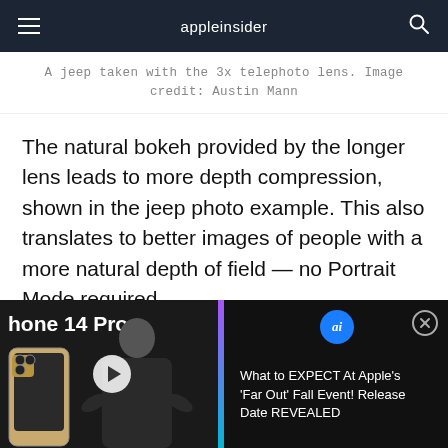appleinsider
A jeep taken with the 3x telephoto lens. Image credit: Austin Mann
The natural bokeh provided by the longer lens leads to more depth compression, shown in the jeep photo example. This also translates to better images of people with a more natural depth of field — no Portrait Mode required.
Photographic styles
[Figure (screenshot): Advertisement banner for AppleInsider video: 'What to EXPECT At Apple's Far Out Fall Event! Release Date REVEALED', showing iPhone 14 Pro and a person on stage, with purple gradient accent bar.]